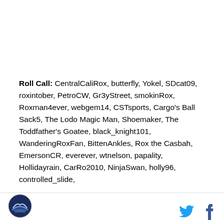Roll Call: CentralCaliRox, butterfly, Yokel, SDcat09, roxintober, PetroCW, Gr3yStreet, smokinRox, Roxman4ever, webgem14, CSTsports, Cargo's Ball Sack5, The Lodo Magic Man, Shoemaker, The Toddfather's Goatee, black_knight101, WanderingRoxFan, BittenAnkles, Rox the Casbah, EmersonCR, everever, wtnelson, papality, Hollidayrain, CarRo2010, NinjaSwan, holly96, controlled_slide,
[Figure (logo): Colorado Rockies logo badge, circular, dark blue and silver]